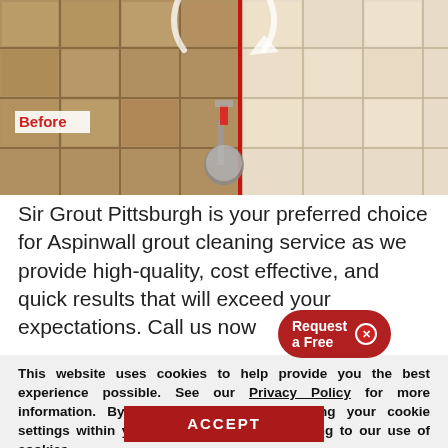[Figure (photo): Before/after photo of tile floor grout cleaning service. Left side shows dirty tile labeled 'Before' in red. Right side shows clean white tile. A red vertical divider separates the two sides. A circular arrow icon overlays the center. Cleaning equipment visible at bottom center.]
Sir Grout Pittsburgh is your preferred choice for Aspinwall grout cleaning service as we provide high-quality, cost effective, and quick results that will exceed your expectations. Call us now
This website uses cookies to help provide you the best experience possible. See our Privacy Policy for more information. By continuing without changing your cookie settings within your browser, you are agreeing to our use of cookies.
ACCEPT